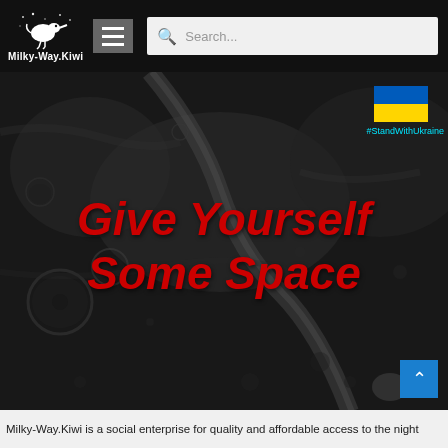Milky-Way.Kiwi [logo] [hamburger menu] [Search...]
[Figure (photo): Grayscale moon surface photograph showing craters and ridges, with Ukraine flag overlay and #StandWithUkraine text in the upper right]
Give Yourself Some Space
Milky-Way.Kiwi is a social enterprise for quality and affordable access to the night